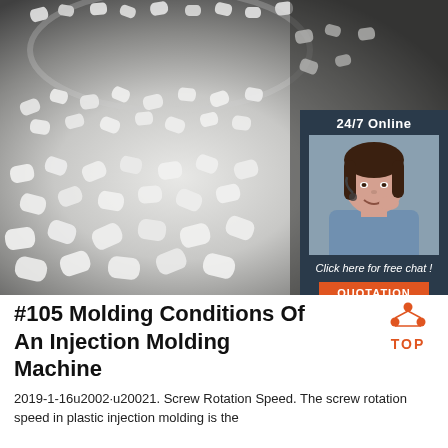[Figure (photo): Close-up photo of white plastic pellets/granules spilling from a container, on a dark background. A customer service sidebar widget overlays the right side with '24/7 Online' text, a female agent photo with headset, 'Click here for free chat!' text, and an orange 'QUOTATION' button.]
#105 Molding Conditions Of An Injection Molding Machine
2019-1-16u2002·u20021. Screw Rotation Speed. The screw rotation speed in plastic injection molding is the